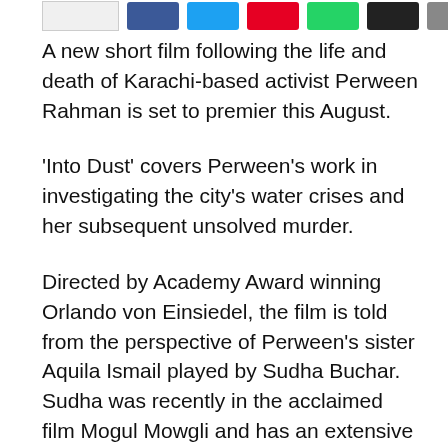[share buttons row]
A new short film following the life and death of Karachi-based activist Perween Rahman is set to premier this August.
‘Into Dust’ covers Perween’s work in investigating the city’s water crises and her subsequent unsolved murder.
Directed by Academy Award winning Orlando von Einsiedel, the film is told from the perspective of Perween’s sister Aquila Ismail played by Sudha Buchar. Sudha was recently in the acclaimed film Mogul Mowgli and has an extensive theatre background having co-founded theatre and arts organisation Tamasha.
When she is murdered, her sister Aquila returns to